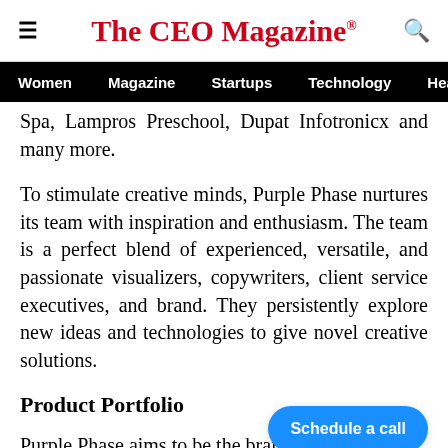The CEO Magazine
Women  Magazine  Startups  Technology  Healt
Spa, Lampros Preschool, Dupat Infotronicx and many more.
To stimulate creative minds, Purple Phase nurtures its team with inspiration and enthusiasm. The team is a perfect blend of experienced, versatile, and passionate visualizers, copywriters, client service executives, and brand. They persistently explore new ideas and technologies to give novel creative solutions.
Product Portfolio
Purple Phase aims to be the brain of branding and